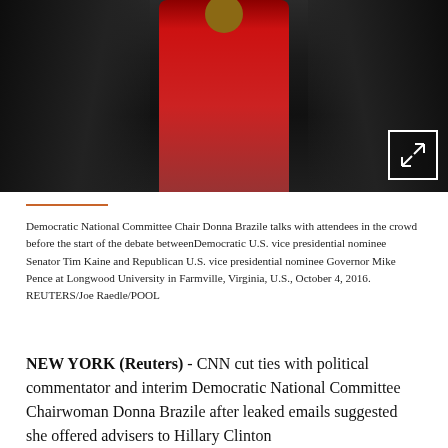[Figure (photo): Democratic National Committee Chair Donna Brazile in a red jacket talking with attendees in a crowd before a debate]
Democratic National Committee Chair Donna Brazile talks with attendees in the crowd before the start of the debate betweenDemocratic U.S. vice presidential nominee Senator Tim Kaine and Republican U.S. vice presidential nominee Governor Mike Pence at Longwood University in Farmville, Virginia, U.S., October 4, 2016. REUTERS/Joe Raedle/POOL
NEW YORK (Reuters) - CNN cut ties with political commentator and interim Democratic National Committee Chairwoman Donna Brazile after leaked emails suggested she offered advisers to Hillary Clinton